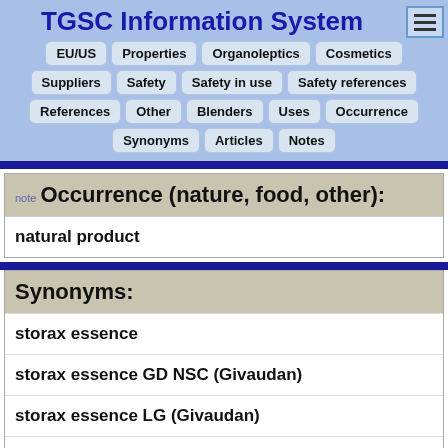TGSC Information System
EU/US
Properties
Organoleptics
Cosmetics
Suppliers
Safety
Safety in use
Safety references
References
Other
Blenders
Uses
Occurrence
Synonyms
Articles
Notes
note Occurrence (nature, food, other):
natural product
Synonyms:
storax essence
storax essence GD NSC (Givaudan)
storax essence LG (Givaudan)
storax essence LG/2 (Givaudan)